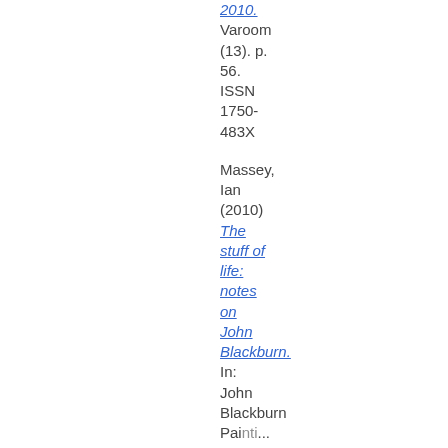2010. Varoom (13). p. 56. ISSN 1750-483X
Massey, Ian (2010) The stuff of life: notes on John Blackburn. In: John Blackburn Paintings